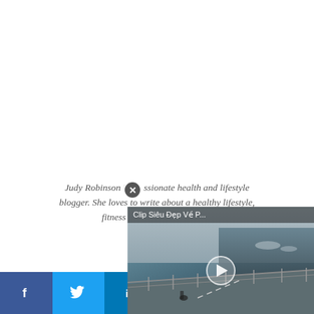Judy Robinson is a passionate health and lifestyle blogger. She loves to write about a healthy lifestyle, fitness 101 and DIY re... for...
[Figure (screenshot): Video overlay showing a road/cycling scene with title 'Clip Siêu Đẹp Về P...' and a play button in the center, with a close (X) button]
[Figure (infographic): Social sharing bar at the bottom with Facebook (blue), Twitter (light blue), LinkedIn (dark blue), Google+ (red), Pinterest (dark red), and Email/other (orange) buttons showing their respective icons]